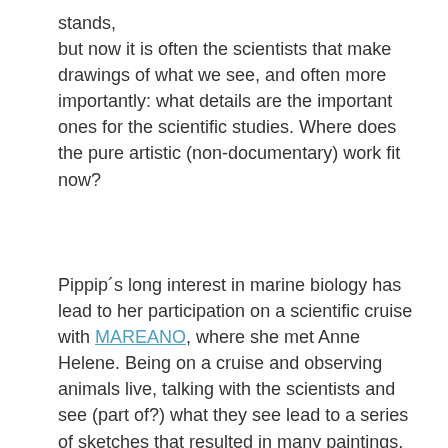stands, but now it is often the scientists that make drawings of what we see, and often more importantly: what details are the important ones for the scientific studies. Where does the pure artistic (non-documentary) work fit now?
Pippip´s long interest in marine biology has lead to her participation on a scientific cruise with MAREANO, where she met Anne Helene. Being on a cruise and observing animals live, talking with the scientists and see (part of?) what they see lead to a series of sketches that resulted in many paintings, sculptures and prints.